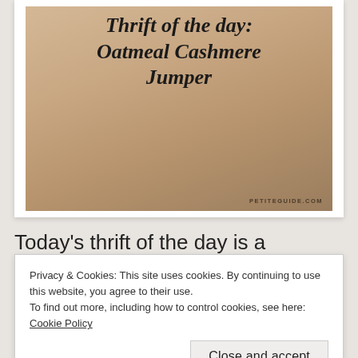[Figure (photo): Photo of a person wearing an oatmeal cashmere jumper, with script text overlay reading 'Thrift of the day: Oatmeal Cashmere Jumper' and attribution 'PETITEGUIDE.COM' in bottom right corner]
Today's thrift of the day is a purchase I made last year, during the late winter
Privacy & Cookies: This site uses cookies. By continuing to use this website, you agree to their use.
To find out more, including how to control cookies, see here: Cookie Policy
Close and accept
it becomes a purchase. There are something [